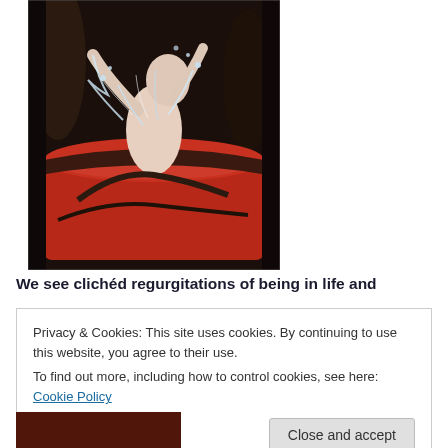[Figure (photo): A scene showing a figure emerging or being raised from a red liquid-filled container, with water or fluid splashing, set in a dark mechanical environment.]
We see clichéd regurgitations of being in life and
Privacy & Cookies: This site uses cookies. By continuing to use this website, you agree to their use.
To find out more, including how to control cookies, see here: Cookie Policy
[Figure (photo): Partial bottom image, dark reddish tones.]